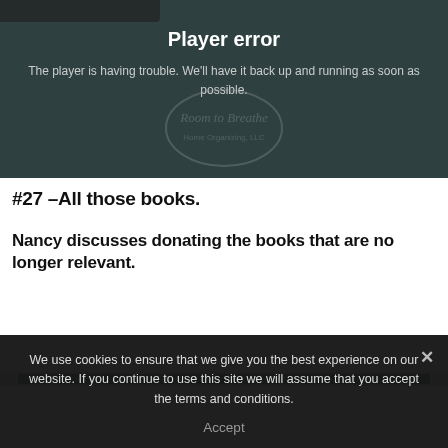[Figure (screenshot): Video player error screen with dark teal/gray background showing 'Player error' message and 'Room to Breathe' watermark overlay]
#27 –All those books.
Nancy discusses donating the books that are no longer relevant.
We use cookies to ensure that we give you the best experience on our website. If you continue to use this site we will assume that you accept the terms and conditions.
Accept